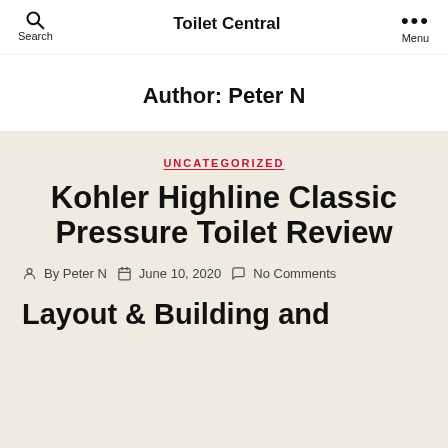Search | Toilet Central | Menu
Author: Peter N
UNCATEGORIZED
Kohler Highline Classic Pressure Toilet Review
By Peter N  June 10, 2020  No Comments
Layout & Building and